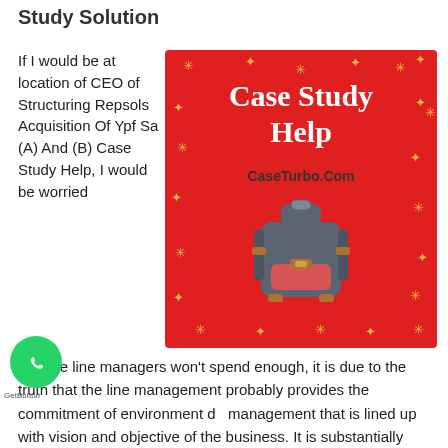Study Solution
If I would be at location of CEO of Structuring Repsols Acquisition Of Ypf Sa (A) And (B) Case Study Help, I would be worried
[Figure (illustration): Red promotional banner with 'Case Study Help' text in white, 'CaseTurbo.Com' URL in bold black, decorative gold stars, and a gray and red backpack illustration in the center.]
that the line managers won't spend enough, it is due to the truth that the line management probably provides the commitment of environment d management that is lined up with vision and objective of the business. It is substantially important to validate such commitment and